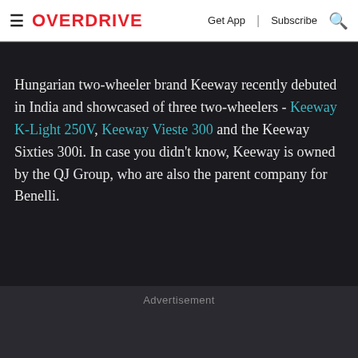≡ OVERDRIVE   Get App | Subscribe 🔍
Hungarian two-wheeler brand Keeway recently debuted in India and showcased of three two-wheelers - Keeway K-Light 250V, Keeway Vieste 300 and the Keeway Sixties 300i. In case you didn't know, Keeway is owned by the QJ Group, who are also the parent company for Benelli.
Advertisement